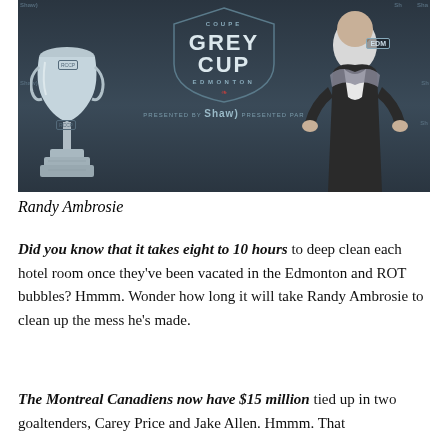[Figure (photo): Randy Ambrosie standing in front of a Grey Cup Edmonton banner with the Grey Cup trophy on the left. He is wearing a suit and an EDM scarf, gesturing with both hands.]
Randy Ambrosie
Did you know that it takes eight to 10 hours to deep clean each hotel room once they've been vacated in the Edmonton and ROT bubbles? Hmmm. Wonder how long it will take Randy Ambrosie to clean up the mess he's made.
The Montreal Canadiens now have $15 million tied up in two goaltenders, Carey Price and Jake Allen. Hmmm. That